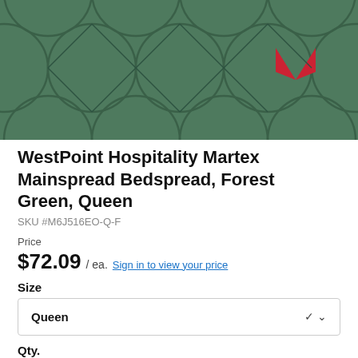[Figure (photo): Close-up photo of a forest green quilted bedspread with hexagonal/honeycomb stitching pattern. A red Martex logo mark (two triangular shapes) is visible in the upper right area of the fabric.]
WestPoint Hospitality Martex Mainspread Bedspread, Forest Green, Queen
SKU #M6J516EO-Q-F
Price
$72.09 / ea. Sign in to view your price
Size
Queen
Qty.